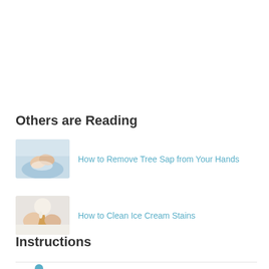Others are Reading
[Figure (photo): Hands washing under running water in a bowl/sink]
How to Remove Tree Sap from Your Hands
[Figure (photo): Hands holding an ice cream cone that is dripping]
How to Clean Ice Cream Stains
Instructions